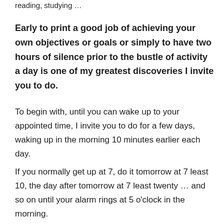reading, studying …
Early to print a good job of achieving your own objectives or goals or simply to have two hours of silence prior to the bustle of activity a day is one of my greatest discoveries I invite you to do.
To begin with, until you can wake up to your appointed time, I invite you to do for a few days, waking up in the morning 10 minutes earlier each day.
If you normally get up at 7, do it tomorrow at 7 least 10, the day after tomorrow at 7 least twenty … and so on until your alarm rings at 5 o'clock in the morning.